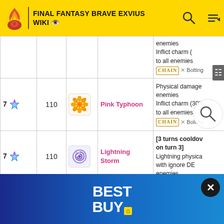FINAL FANTASY BRAVE EXVIUS WIKI
| Stars | MP | Icon | Name | Effect |
| --- | --- | --- | --- | --- |
|  |  |  |  | enemies
Inflict charm (
to all enemies
Chain X Bolting |
| 7 | 110 | [pink ring icon] | Pink Typhoon | Physical damage
enemies
Inflict charm (30%
to all enemies
Chain X Bolting |
| 7 | 110 | [spiral icon] | Lightning Storm | [3 turns cooldown, on turn 3]
Lightning physical
with ignore DE
enemies
physical
ignore D
all enemies |
[Figure (screenshot): Best Buy advertisement banner at the bottom of the page with X close button]